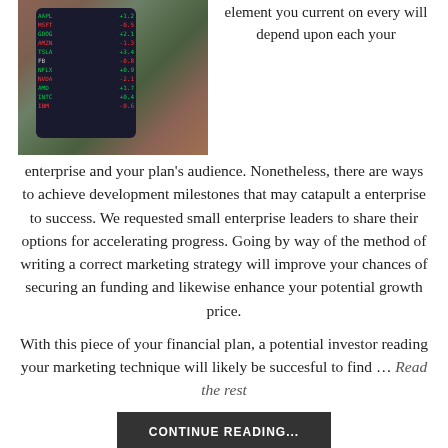[Figure (photo): Hand holding a smartphone displaying stock market data with green and red numbers on screen, blurred background]
element you current on every will depend upon each your enterprise and your plan's audience. Nonetheless, there are ways to achieve development milestones that may catapult a enterprise to success. We requested small enterprise leaders to share their options for accelerating progress. Going by way of the method of writing a correct marketing strategy will improve your chances of securing an funding and likewise enhance your potential growth price.
With this piece of your financial plan, a potential investor reading your marketing technique will likely be succesful to find … Read the rest
CONTINUE READING...
FINANCE TIPS
The Fight Over bank And How To Win It